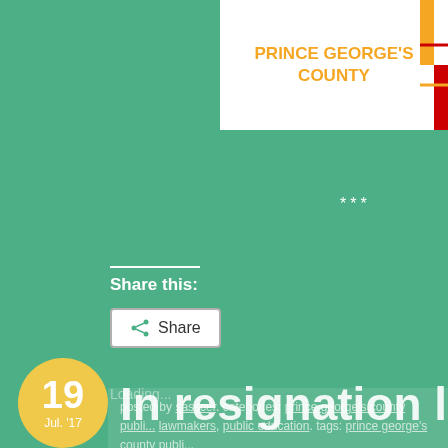[Figure (logo): Prince George's County logo/header with white background showing orange bold text 'PRINCE GEORGE'S COUNTY' and a partial flag element on the right]
***
Share this:
[Figure (other): Share button with share icon]
Loading...
posted by sasscer. categories: prince george's county public lawmakers, public education. tags: prince george's county publi...
In resignation lett